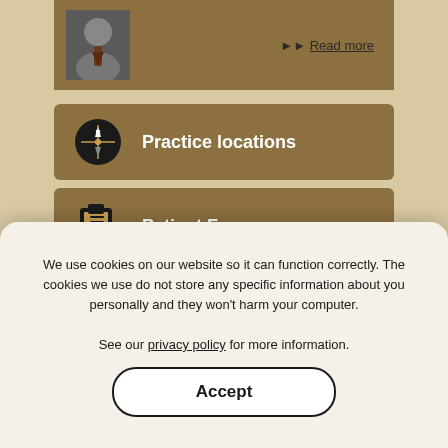[Figure (screenshot): Partial doctor profile image strip with photo and Read more link]
Practice locations
Patient Forms
Ambulatory Surgical Center
Request An Appointment Online
We use cookies on our website so it can function correctly. The cookies we use do not store any specific information about you personally and they won't harm your computer. See our privacy policy for more information.
Accept